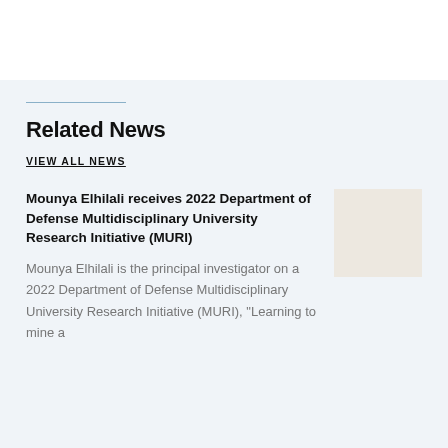Related News
VIEW ALL NEWS
Mounya Elhilali receives 2022 Department of Defense Multidisciplinary University Research Initiative (MURI)
Mounya Elhilali is the principal investigator on a 2022 Department of Defense Multidisciplinary University Research Initiative (MURI), “Learning to mine a
[Figure (photo): Thumbnail image placeholder for news article]